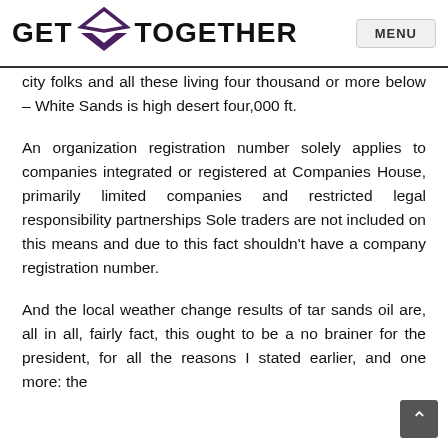GET TOGETHER  MENU
city folks and all these living four thousand or more below – White Sands is high desert four,000 ft.
An organization registration number solely applies to companies integrated or registered at Companies House, primarily limited companies and restricted legal responsibility partnerships Sole traders are not included on this means and due to this fact shouldn't have a company registration number.
And the local weather change results of tar sands oil are, all in all, fairly fact, this ought to be a no brainer for the president, for all the reasons I stated earlier, and one more: the